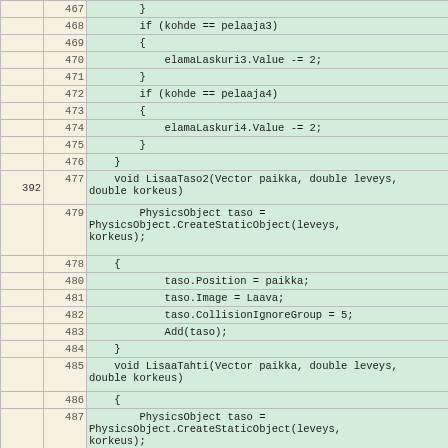Code listing showing lines 467–493 of a Finnish-language game source file with methods LisaaTaso2, LisaaTahti, and LisaaLiikkuvaTahti
|  | line | code |
| --- | --- | --- |
|  | 467 |         } |
|  | 468 |         if (kohde == pelaaja3) |
|  | 469 |         { |
|  | 470 |             elamaLaskuri3.Value -= 2; |
|  | 471 |         } |
|  | 472 |         if (kohde == pelaaja4) |
|  | 473 |         { |
|  | 474 |             elamaLaskuri4.Value -= 2; |
|  | 475 |         } |
|  | 476 |     } |
| 392 | 477 |     void LisaaTaso2(Vector paikka, double leveys, double korkeus) |
|  | 478 |     { |
|  | 479 |         PhysicsObject taso = PhysicsObject.CreateStaticObject(leveys, korkeus); |
|  | 480 |             taso.Position = paikka; |
|  | 481 |             taso.Image = Laava; |
|  | 482 |             taso.CollisionIgnoreGroup = 5; |
|  | 483 |             Add(taso); |
|  | 484 |     } |
|  | 485 |     void LisaaTahti(Vector paikka, double leveys, double korkeus) |
|  | 486 |     { |
|  | 487 |         PhysicsObject taso = PhysicsObject.CreateStaticObject(leveys, korkeus); |
|  | 488 |             taso.Position = paikka; |
|  | 489 |             taso.Image = Laava; |
|  | 490 |             taso.CollisionIgnoreGroup = 5; |
|  | 491 |             Add(taso); |
|  | 492 |     } |
|  | 493 |     void LisaaLiikkuvaTahti(Vector paikka, double |